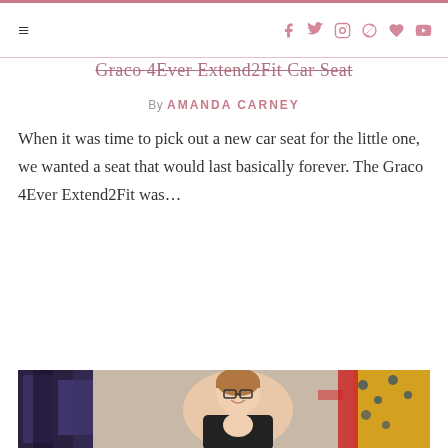Navigation bar with hamburger menu and social icons (Facebook, Twitter, Instagram, Pinterest, heart, YouTube)
Graco 4Ever Extend2Fit Car Seat
By AMANDA CARNEY
When it was time to pick out a new car seat for the little one, we wanted a seat that would last basically forever. The Graco 4Ever Extend2Fit was…
CONTINUE READING →
[Figure (photo): A young woman with glasses and light brown hair wearing a baby carrier with a baby inside, smiling in a retail store with colorful clothing racks behind her]